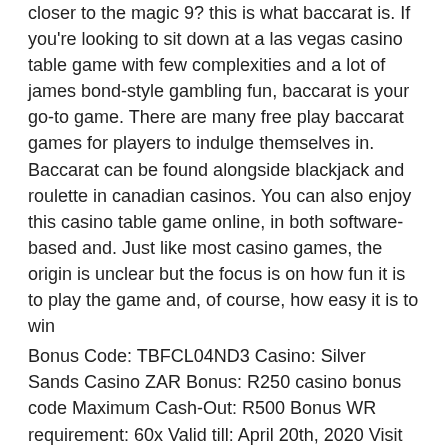closer to the magic 9? this is what baccarat is. If you're looking to sit down at a las vegas casino table game with few complexities and a lot of james bond-style gambling fun, baccarat is your go-to game. There are many free play baccarat games for players to indulge themselves in. Baccarat can be found alongside blackjack and roulette in canadian casinos. You can also enjoy this casino table game online, in both software-based and. Just like most casino games, the origin is unclear but the focus is on how fun it is to play the game and, of course, how easy it is to win
Bonus Code: TBFCL04ND3 Casino: Silver Sands Casino ZAR Bonus: R250 casino bonus code Maximum Cash-Out: R500 Bonus WR requirement: 60x Valid till: April 20th, 2020 Visit Silver Sands Casino, play baccarat game free.
Welcome pack is divided for the first three deposits. No Deposit Bonus T&C's 18+